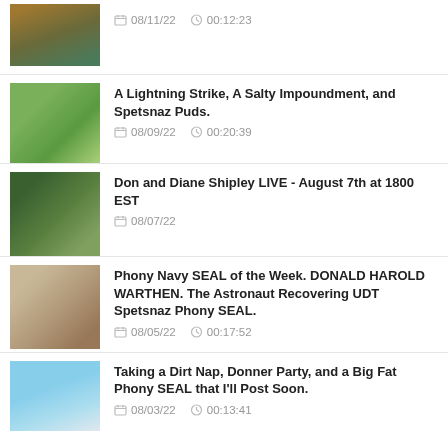08/11/22  00:12:23
A Lightning Strike, A Salty Impoundment, and Spetsnaz Puds.
08/09/22  00:20:39
Don and Diane Shipley LIVE - August 7th at 1800 EST
08/07/22
Phony Navy SEAL of the Week. DONALD HAROLD WARTHEN. The Astronaut Recovering UDT Spetsnaz Phony SEAL.
08/05/22  00:17:52
Taking a Dirt Nap, Donner Party, and a Big Fat Phony SEAL that I'll Post Soon.
08/03/22  00:13:41